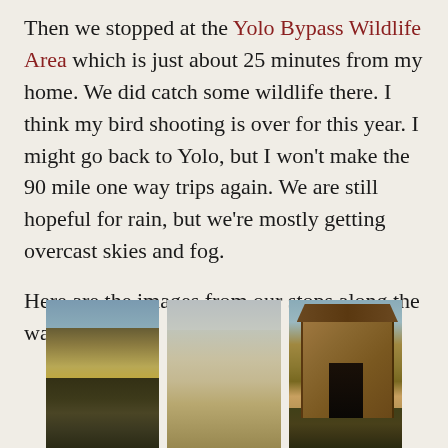Then we stopped at the Yolo Bypass Wildlife Area which is just about 25 minutes from my home. We did catch some wildlife there. I think my bird shooting is over for this year. I might go back to Yolo, but I won't make the 90 mile one way trips again. We are still hopeful for rain, but we're mostly getting overcast skies and fog.

Here are the images from our stops along the way home.
[Figure (photo): Three landscape photos side by side: left shows shrubby vegetation in foreground with golden fields and sky; center shows misty flat agricultural fields receding to horizon; right shows a weathered wooden outhouse or shed structure with open door, surrounded by dry grass.]